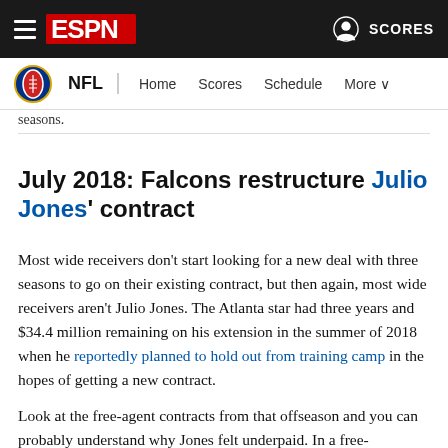ESPN — NFL | Home Scores Schedule More
seasons.
July 2018: Falcons restructure Julio Jones' contract
Most wide receivers don't start looking for a new deal with three seasons to go on their existing contract, but then again, most wide receivers aren't Julio Jones. The Atlanta star had three years and $34.4 million remaining on his extension in the summer of 2018 when he reportedly planned to hold out from training camp in the hopes of getting a new contract.
Look at the free-agent contracts from that offseason and you can probably understand why Jones felt underpaid. In a free-